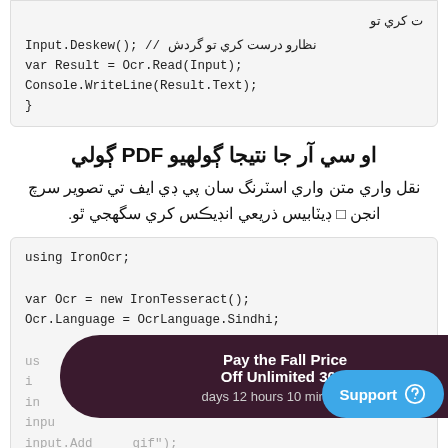ت کري تو
Input.Deskew(); // نظارو درست کري تو  گردش
var Result = Ocr.Read(Input);
Console.WriteLine(Result.Text);
}
او سي آر جا نتيجا ڳولهيو PDF ڳولي
نقل واري متن واري اسٽرنگ سان پي ڊي ايف تي تصوير سرچ
انجن  ڊيٽابيس ذريعي انڊيڪس کري سگهجي ٿو.
using IronOcr;

var Ocr = new IronTesseract();
Ocr.Language = OcrLanguage.Sindhi;

us  r
i
in
inpu
input.Add   gif");